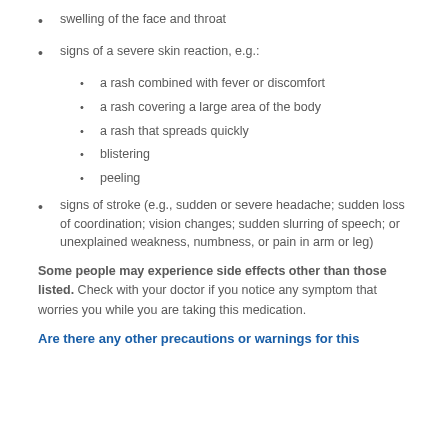swelling of the face and throat
signs of a severe skin reaction, e.g.:
a rash combined with fever or discomfort
a rash covering a large area of the body
a rash that spreads quickly
blistering
peeling
signs of stroke (e.g., sudden or severe headache; sudden loss of coordination; vision changes; sudden slurring of speech; or unexplained weakness, numbness, or pain in arm or leg)
Some people may experience side effects other than those listed. Check with your doctor if you notice any symptom that worries you while you are taking this medication.
Are there any other precautions or warnings for this